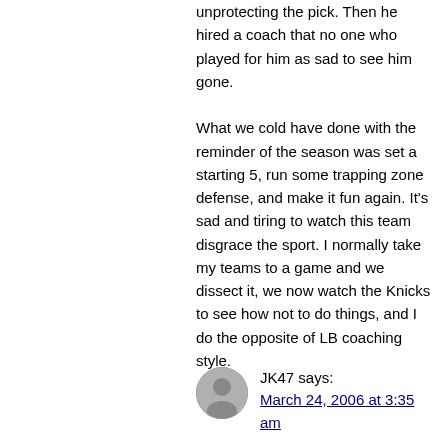unprotecting the pick. Then he hired a coach that no one who played for him as sad to see him gone. What we cold have done with the reminder of the season was set a starting 5, run some trapping zone defense, and make it fun again. It's sad and tiring to watch this team disgrace the sport. I normally take my teams to a game and we dissect it, we now watch the Knicks to see how not to do things, and I do the opposite of LB coaching style.
JK47 says: March 24, 2006 at 3:35 am